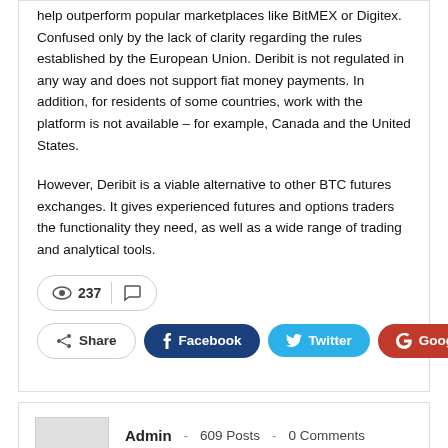help outperform popular marketplaces like BitMEX or Digitex. Confused only by the lack of clarity regarding the rules established by the European Union. Deribit is not regulated in any way and does not support fiat money payments. In addition, for residents of some countries, work with the platform is not available – for example, Canada and the United States.
However, Deribit is a viable alternative to other BTC futures exchanges. It gives experienced futures and options traders the functionality they need, as well as a wide range of trading and analytical tools.
237 [views] [comments]
Share | Facebook | Twitter | Google+
Admin - 609 Posts - 0 Comments